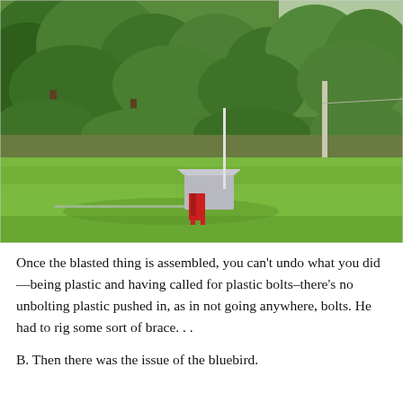[Figure (photo): Outdoor photo of a green grassy field with trees and dense foliage in the background. In the center-left of the field there is a small red and silver metal structure (possibly a feeder or trap device) sitting on the grass. A wooden or metal post is visible on the right side of the image. The scene appears to be a rural or suburban yard setting.]
Once the blasted thing is assembled, you can't undo what you did—being plastic and having called for plastic bolts–there's no unbolting plastic pushed in, as in not going anywhere, bolts. He had to rig some sort of brace. . .
B. Then there was the issue of the bluebird.